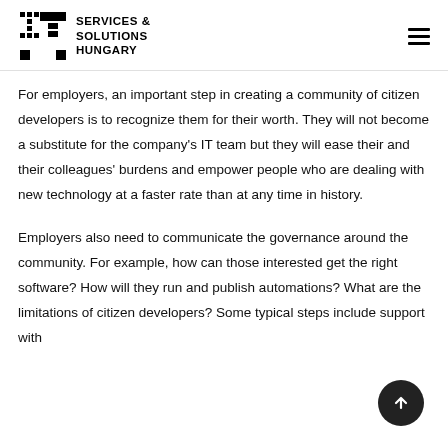IT SERVICES & SOLUTIONS HUNGARY
For employers, an important step in creating a community of citizen developers is to recognize them for their worth. They will not become a substitute for the company's IT team but they will ease their and their colleagues' burdens and empower people who are dealing with new technology at a faster rate than at any time in history.
Employers also need to communicate the governance around the community. For example, how can those interested get the right software? How will they run and publish automations? What are the limitations of citizen developers? Some typical steps include support with